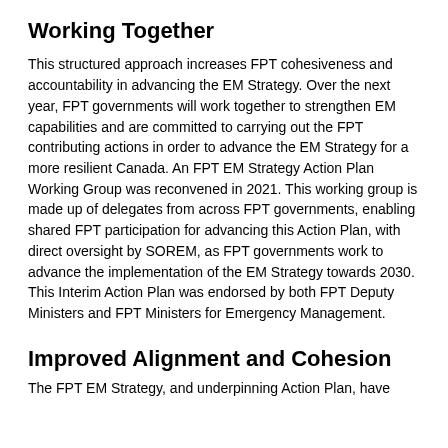Working Together
This structured approach increases FPT cohesiveness and accountability in advancing the EM Strategy. Over the next year, FPT governments will work together to strengthen EM capabilities and are committed to carrying out the FPT contributing actions in order to advance the EM Strategy for a more resilient Canada. An FPT EM Strategy Action Plan Working Group was reconvened in 2021. This working group is made up of delegates from across FPT governments, enabling shared FPT participation for advancing this Action Plan, with direct oversight by SOREM, as FPT governments work to advance the implementation of the EM Strategy towards 2030. This Interim Action Plan was endorsed by both FPT Deputy Ministers and FPT Ministers for Emergency Management.
Improved Alignment and Cohesion
The FPT EM Strategy, and underpinning Action Plan, have